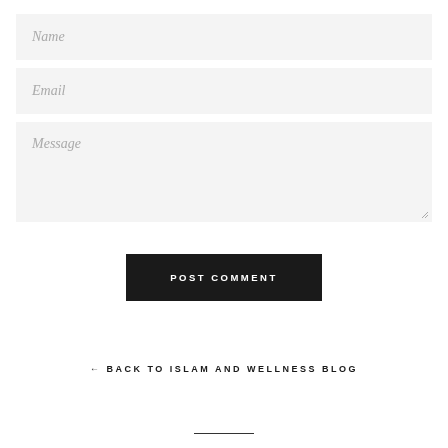Name
Email
Message
POST COMMENT
← BACK TO ISLAM AND WELLNESS BLOG